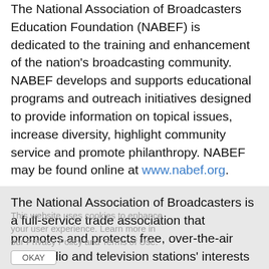The National Association of Broadcasters Education Foundation (NABEF) is dedicated to the training and enhancement of the nation's broadcasting community. NABEF develops and supports educational programs and outreach initiatives designed to provide information on topical issues, increase diversity, highlight community service and promote philanthropy. NABEF may be found online at www.nabef.org.
The National Association of Broadcasters is a full-service trade association that promotes and protects free, over-the-air local radio and television stations' interests in Washington and around the world. NAB is the broadcaster's voice before Congress, federal agencies and the courts. NAB also serves a growing number of associate and